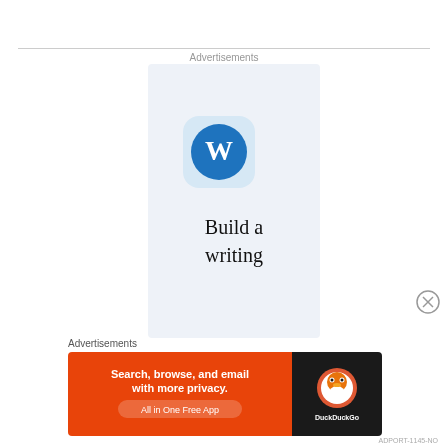Advertisements
[Figure (illustration): WordPress advertisement banner with WordPress logo (W in blue circle on light blue rounded square background) and text 'Build a writing' on light blue background]
Advertisements
[Figure (illustration): DuckDuckGo advertisement: orange background with text 'Search, browse, and email with more privacy. All in One Free App' and DuckDuckGo logo on dark right panel]
ADPORT-1145-NO